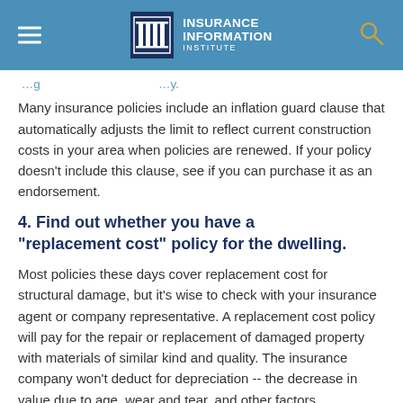Insurance Information Institute
Many insurance policies include an inflation guard clause that automatically adjusts the limit to reflect current construction costs in your area when policies are renewed. If your policy doesn't include this clause, see if you can purchase it as an endorsement.
4. Find out whether you have a "replacement cost" policy for the dwelling.
Most policies these days cover replacement cost for structural damage, but it's wise to check with your insurance agent or company representative. A replacement cost policy will pay for the repair or replacement of damaged property with materials of similar kind and quality. The insurance company won't deduct for depreciation -- the decrease in value due to age, wear and tear, and other factors.